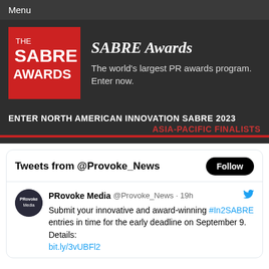Menu
[Figure (logo): THE SABRE AWARDS logo — white text on red square background]
SABRE Awards
The world's largest PR awards program. Enter now.
ENTER NORTH AMERICAN INNOVATION SABRE 2023
ASIA-PACIFIC FINALISTS
Tweets from @Provoke_News
Follow
PRovoke Media @Provoke_News · 19h
Submit your innovative and award-winning #In2SABRE entries in time for the early deadline on September 9. Details: bit.ly/3vUBFl2